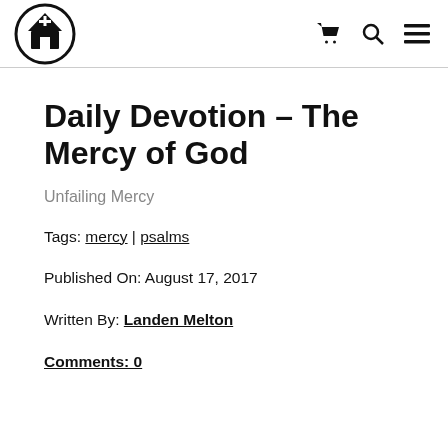[Logo] [cart icon] [search icon] [menu icon]
Daily Devotion – The Mercy of God
Unfailing Mercy
Tags: mercy | psalms
Published On: August 17, 2017
Written By: Landen Melton
Comments: 0